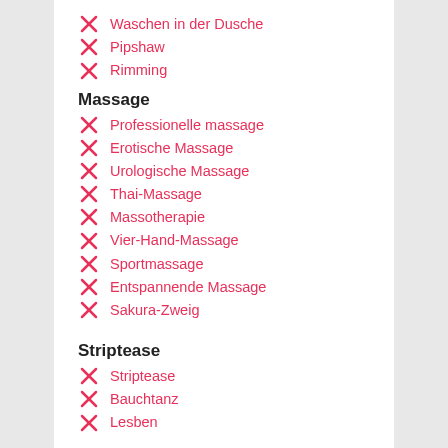Waschen in der Dusche
Pipshaw
Rimming
Massage
Professionelle massage
Erotische Massage
Urologische Massage
Thai-Massage
Massotherapie
Vier-Hand-Massage
Sportmassage
Entspannende Massage
Sakura-Zweig
Striptease
Striptease
Bauchtanz
Lesben